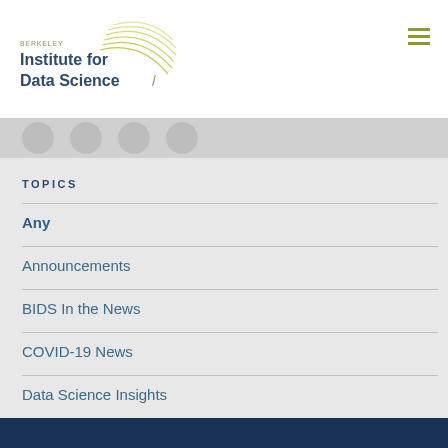[Figure (logo): Berkeley Institute for Data Science logo with arc lines in olive/yellow-green above the text]
TOPICS
Any
Announcements
BIDS In the News
COVID-19 News
Data Science Insights
News